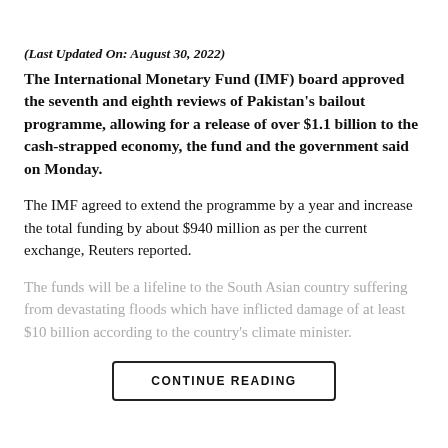[Figure (photo): Photo strip at top of page showing partial image of a person and textured background]
(Last Updated On: August 30, 2022)
The International Monetary Fund (IMF) board approved the seventh and eighth reviews of Pakistan's bailout programme, allowing for a release of over $1.1 billion to the cash-strapped economy, the fund and the government said on Monday.
The IMF agreed to extend the programme by a year and increase the total funding by about $940 million as per the current exchange, Reuters reported.
The funds will be a lifeline to the South Asian country suffering from devastating floods which have inflicted damage of at least $10 billion according to the country's climate minister.
CONTINUE READING